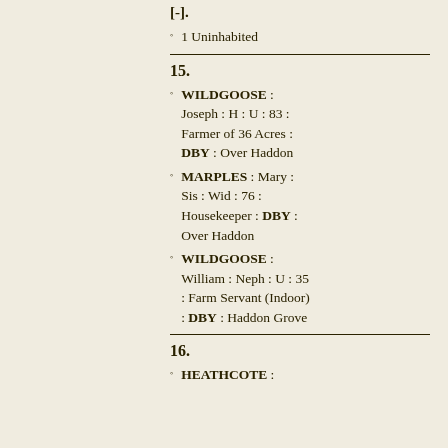[-].
1 Uninhabited
15.
WILDGOOSE : Joseph : H : U : 83 : Farmer of 36 Acres : DBY : Over Haddon
MARPLES : Mary : Sis : Wid : 76 : Housekeeper : DBY : Over Haddon
WILDGOOSE : William : Neph : U : 35 : Farm Servant (Indoor) : DBY : Haddon Grove
16.
HEATHCOTE :